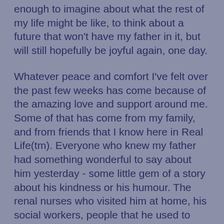enough to imagine about what the rest of my life might be like, to think about a future that won't have my father in it, but will still hopefully be joyful again, one day.
Whatever peace and comfort I've felt over the past few weeks has come because of the amazing love and support around me. Some of that has come from my family, and from friends that I know here in Real Life(tm). Everyone who knew my father had something wonderful to say about him yesterday - some little gem of a story about his kindness or his humour. The renal nurses who visited him at home, his social workers, people that he used to work with, neighbours: he had an impact on them all.
I've also received a humbling amount of support from other people. From Dear Readers, who've posted loving, kind comments to me here on my blog, even though I couldn't reply. From my friends in the YA Think and Authors Allsorts groups, whose wonderful package of letters and cards made me laugh (Ruth) and cry (Liz) and experience every emotion in between. From Tweeps, fellow bloggers, and online friends, who've emailed messages of love and support. From